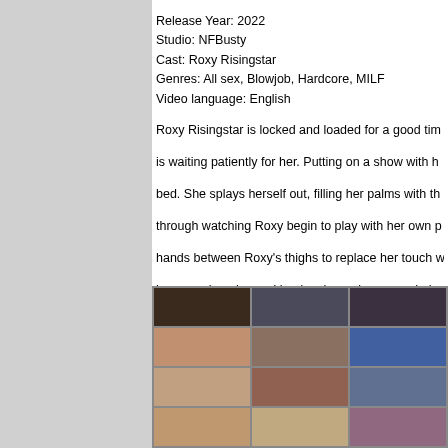Release Year: 2022
Studio: NFBusty
Cast: Roxy Risingstar
Genres: All sex, Blowjob, Hardcore, MILF
Video language: English
Roxy Risingstar is locked and loaded for a good tim- is waiting patiently for her. Putting on a show with h- bed. She splays herself out, filling her palms with th- through watching Roxy begin to play with her own p- hands between Roxy's thighs to replace her touch w- her moaning nice and loud as he makes sure she's
Format: mp4
Duration: 24:38
Video: 1920x1080, AVC (H.264), 8018kbps
Audio: 191kbps
[Figure (photo): Grid of 12 video thumbnail screenshots arranged in 4 rows and 3 columns]